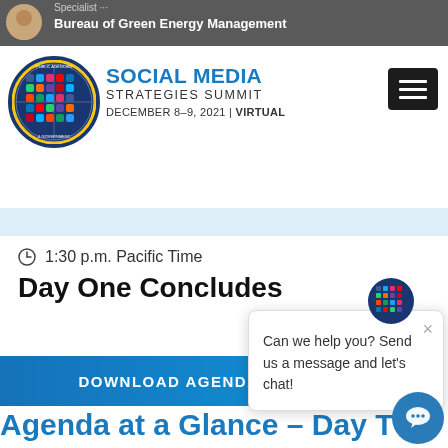Social Media Strategies Summit — December 8-9, 2021 | VIRTUAL
[Figure (logo): Public Agencies & Government Social Media Strategies Summit circular logo]
SOCIAL MEDIA STRATEGIES SUMMIT
DECEMBER 8–9, 2021 | VIRTUAL
1:30 p.m. Pacific Time
Day One Concludes
DOWNLOAD AGENDA
Agenda at a Glance – Day T
Can we help you? Send us a message and let's chat!